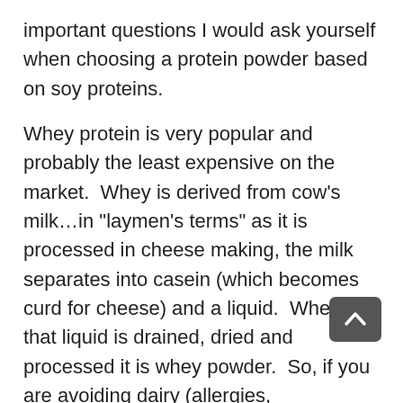important questions I would ask yourself when choosing a protein powder based on soy proteins.
Whey protein is very popular and probably the least expensive on the market.  Whey is derived from cow’s milk…in “laymen’s terms” as it is processed in cheese making, the milk separates into casein (which becomes curd for cheese) and a liquid.  When that liquid is drained, dried and processed it is whey powder.  So, if you are avoiding dairy (allergies, sensitivities, or inflammation issues such as autoimmune diseases or gut issues), you probably want to either avoid